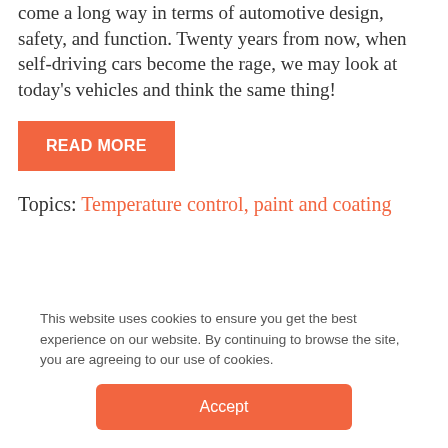come a long way in terms of automotive design, safety, and function. Twenty years from now, when self-driving cars become the rage, we may look at today's vehicles and think the same thing!
READ MORE
Topics: Temperature control, paint and coating
All posts
Next
This website uses cookies to ensure you get the best experience on our website. By continuing to browse the site, you are agreeing to our use of cookies.
Accept